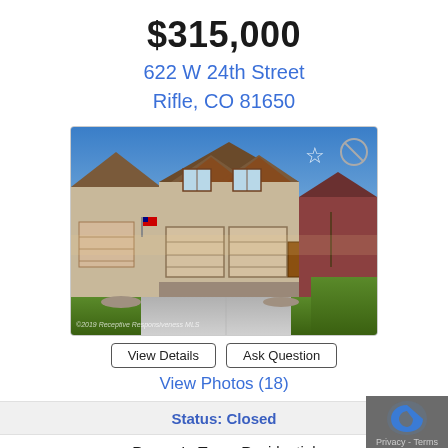$315,000
622 W 24th Street
Rifle, CO 81650
[Figure (photo): Exterior photo of a two-story residential townhome with tan siding, brown trim, two-car garage, driveway, and green lawn. Another unit visible to the left. Blue sky at dusk. Star and no icon overlay in upper right.]
View Details
Ask Question
View Photos (18)
Status: Closed
Property Type: Residential